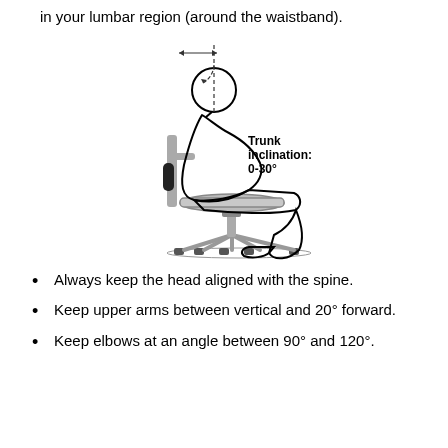in your lumbar region (around the waistband).
[Figure (illustration): Line drawing of a person seated in an office chair viewed from the side, showing trunk inclination angle of 0-30 degrees indicated by a dashed arc and arrow at the top. The label 'Trunk inclination: 0-30°' is shown to the right of the figure.]
Always keep the head aligned with the spine.
Keep upper arms between vertical and 20° forward.
Keep elbows at an angle between 90° and 120°.